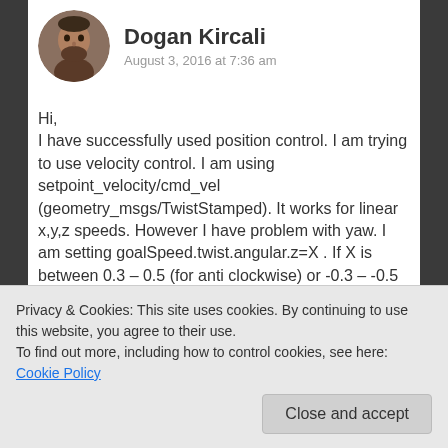Dogan Kircali
August 3, 2016 at 7:36 am
Hi,
I have successfully used position control. I am trying to use velocity control. I am using setpoint_velocity/cmd_vel (geometry_msgs/TwistStamped). It works for linear x,y,z speeds. However I have problem with yaw. I am setting goalSpeed.twist.angular.z=X . If X is between 0.3 – 0.5 (for anti clockwise) or -0.3 – -0.5 (for clockwise) I can see the UAV is turning however not very fast and not so precise as position controller. If you give 1 to X, UAV starts to
Privacy & Cookies: This site uses cookies. By continuing to use this website, you agree to their use.
To find out more, including how to control cookies, see here: Cookie Policy
Close and accept